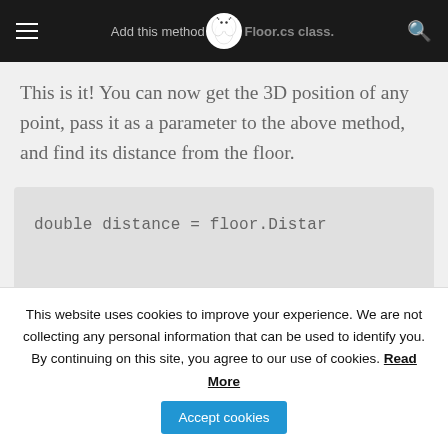Add this method to the Floor.cs class.
This is it! You can now get the 3D position of any point, pass it as a parameter to the above method, and find its distance from the floor.
[Figure (screenshot): Code snippet showing: double distance = floor.Distar]
This website uses cookies to improve your experience. We are not collecting any personal information that can be used to identify you. By continuing on this site, you agree to our use of cookies. Read More  Accept cookies